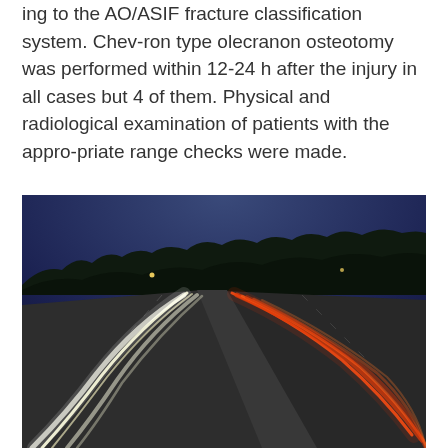ing to the AO/ASIF fracture classification system. Chev-ron type olecranon osteotomy was performed within 12-24 h after the injury in all cases but 4 of them. Physical and radiological examination of patients with the appro-priate range checks were made.
[Figure (photo): Night-time long-exposure photograph of a multi-lane highway with curved light trails from vehicle headlights (white) and taillights (red/orange), dark silhouetted trees against a deep blue twilight sky.]